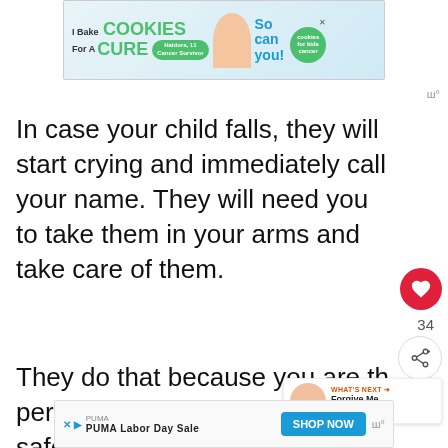[Figure (other): Advertisement banner: 'I Bake COOKIES For A CURE' with image of girl and Haldora, 11 Cancer Survivor. 'So can you!' with Cookies for Kids Cancer logo.]
In case your child falls, they will start crying and immediately call your name. They will need you to take them in your arms and take care of them.
They do that because you are the person they believe in. They feel safe
[Figure (other): WHAT'S NEXT -> Forgive Me, But I Love M... with avatar photo]
[Figure (other): Bottom advertisement: PUMA - PUMA Labor Day Sale with SHOP NOW button]